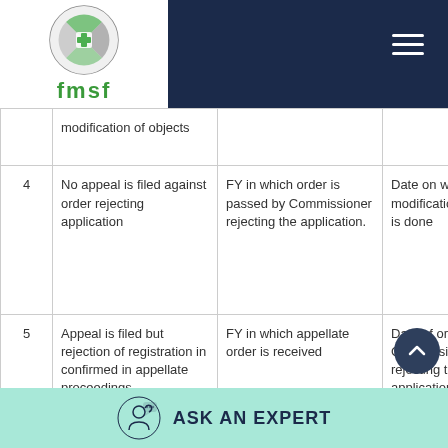fmsf — Financial Management Standards
| # | Situation | FY | Date | Days |
| --- | --- | --- | --- | --- |
|  | modification of objects |  |  | of o done |
| 4 | No appeal is filed against order rejecting application | FY in which order is passed by Commissioner rejecting the application. | Date on which modification of object is done | 74 d the whi Com reje app rece |
| 5 | Appeal is filed but rejection of registration in confirmed in appellate proceedings | FY in which appellate order is received | Date of order of Commissioner rejecting the application. | 14 d the whi app rde rece |
ASK AN EXPERT